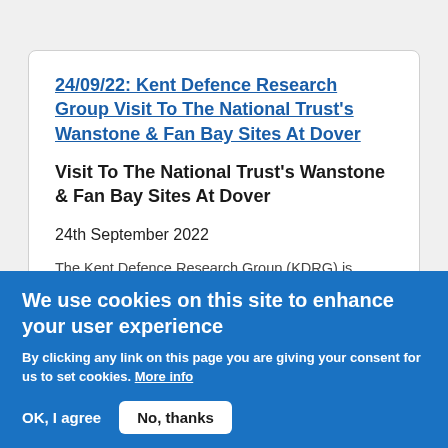24/09/22: Kent Defence Research Group Visit To The National Trust's Wanstone & Fan Bay Sites At Dover
Visit To The National Trust's Wanstone & Fan Bay Sites At Dover
24th September 2022
The Kent Defence Research Group (KDRG) is
We use cookies on this site to enhance your user experience
By clicking any link on this page you are giving your consent for us to set cookies. More info
OK, I agree   No, thanks